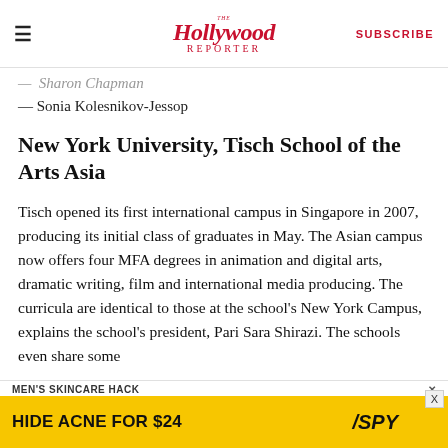The Hollywood Reporter — SUBSCRIBE
— Sonia Kolesnikov-Jessop
New York University, Tisch School of the Arts Asia
Tisch opened its first international campus in Singapore in 2007, producing its initial class of graduates in May. The Asian campus now offers four MFA degrees in animation and digital arts, dramatic writing, film and international media producing. The curricula are identical to those at the school's New York Campus, explains the school's president, Pari Sara Shirazi. The schools even share some
[Figure (screenshot): Advertisement banner: MEN'S SKINCARE HACK / HIDE ACNE FOR $24 with SPY logo, yellow background]